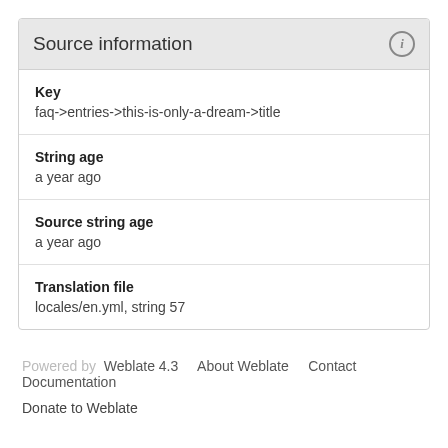Source information
Key
faq->entries->this-is-only-a-dream->title
String age
a year ago
Source string age
a year ago
Translation file
locales/en.yml, string 57
Powered by Weblate 4.3  About Weblate  Contact  Documentation
Donate to Weblate